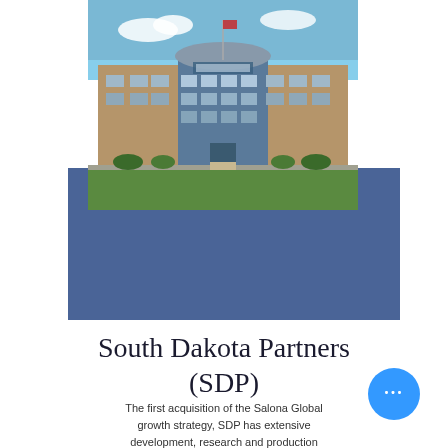[Figure (photo): Exterior photo of the South Dakota Partners (SDP) building — a modern two-to-three story office building with brick and glass facade, flagpole visible, green lawn in foreground, blue sky background. A blue rectangular decorative block appears behind/below the photo.]
South Dakota Partners (SDP)
The first acquisition of the Salona Global growth strategy, SDP has extensive development, research and production capabilities at its state of the art FDA approved facility located in Clearlake, South Dakota. Currently SDP develops and manufactures white label medical devices for an array of global businesses. Clearlake